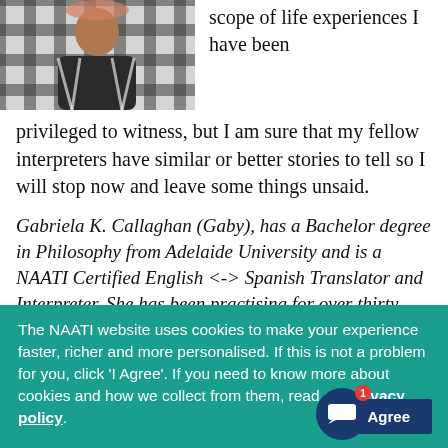[Figure (photo): Photo of a person wearing a black and white plaid/checkered shirt, upper body visible]
scope of life experiences I have been privileged to witness, but I am sure that my fellow interpreters have similar or better stories to tell so I will stop now and leave some things unsaid.
Gabriela K. Callaghan (Gaby), has a Bachelor degree in Philosophy from Adelaide University and is a NAATI Certified English <-> Spanish Translator and Interpreter. She has been practising for over thirty years.
The NAATI website uses cookies to make your experience faster, richer and more personalised. If this is not a problem for you, click 'I Agree'. If you need to know more about cookies and how we collect from them, read our privacy policy.